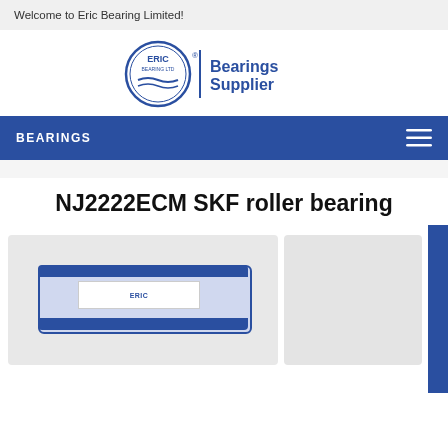Welcome to Eric Bearing Limited!
[Figure (logo): Eric Bearing Ltd logo with circular emblem and 'Bearings Supplier' text in dark blue]
BEARINGS
NJ2222ECM SKF roller bearing
[Figure (photo): Photo of NJ2222ECM SKF roller bearing showing blue-edged bearing component, with a second image panel to the right]